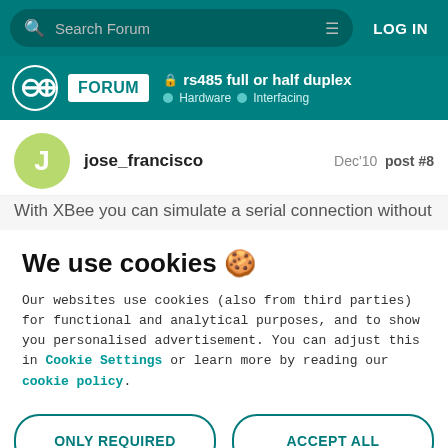Search Forum | LOG IN
rs485 full or half duplex
Hardware · Interfacing
jose_francisco   Dec'10  post #8
With XBee you can simulate a serial connection without
We use cookies 🍪
Our websites use cookies (also from third parties) for functional and analytical purposes, and to show you personalised advertisement. You can adjust this in Cookie Settings or learn more by reading our cookie policy.
ONLY REQUIRED   ACCEPT ALL